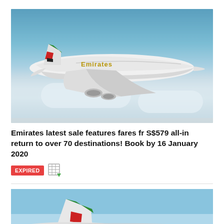[Figure (photo): Emirates A380 aircraft in flight above clouds, blue sky background, Emirates livery visible on fuselage]
Emirates latest sale features fares fr S$579 all-in return to over 70 destinations! Book by 16 January 2020
EXPIRED
[Figure (photo): Emirates aircraft tail section visible against blue sky, partial view of plane]